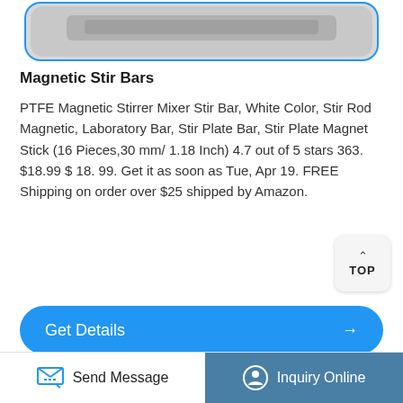[Figure (photo): Product image of magnetic stir bars shown in a rounded blue-bordered card at the top of the page]
Magnetic Stir Bars
PTFE Magnetic Stirrer Mixer Stir Bar, White Color, Stir Rod Magnetic, Laboratory Bar, Stir Plate Bar, Stir Plate Magnet Stick (16 Pieces,30 mm/ 1.18 Inch) 4.7 out of 5 stars 363. $18.99 $ 18. 99. Get it as soon as Tue, Apr 19. FREE Shipping on orders over $25 shipped by Amazon.
[Figure (screenshot): Blue Get Details button with right arrow]
Send Message   Inquiry Online